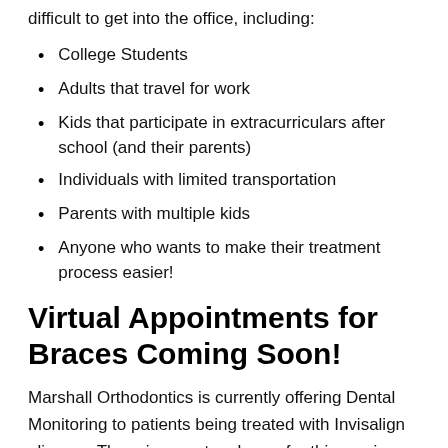difficult to get into the office, including:
College Students
Adults that travel for work
Kids that participate in extracurriculars after school (and their parents)
Individuals with limited transportation
Parents with multiple kids
Anyone who wants to make their treatment process easier!
Virtual Appointments for Braces Coming Soon!
Marshall Orthodontics is currently offering Dental Monitoring to patients being treated with Invisalign aligners. There is no extra charge for this service.